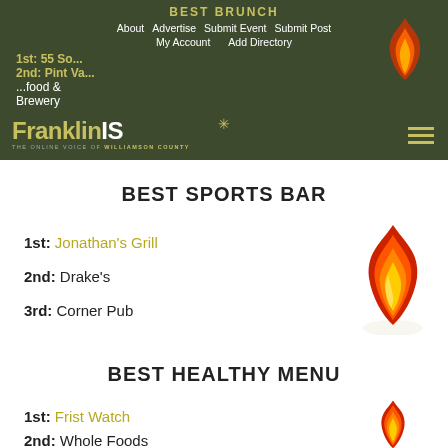BEST BRUNCH
About   Advertise   Submit Event   Submit Post   My Account   Add Directory
FranklinIS - THE ONLINE VOICE OF WILLIAMSON COUNTY
BEST SPORTS BAR
1st: Jonathan's Grill
2nd: Drake's
3rd: Corner Pub
BEST HEALTHY MENU
1st: Frist Watch
2nd: Whole Foods
3rd: Zoe's Kitchen